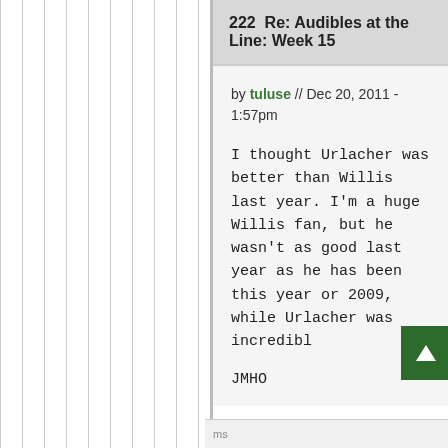222  Re: Audibles at the Line: Week 15
by tuluse // Dec 20, 2011 - 1:57pm
I thought Urlacher was better than Willis last year. I'm a huge Willis fan, but he wasn't as good last year as he has been this year or 2009, while Urlacher was incredibl
JMHO